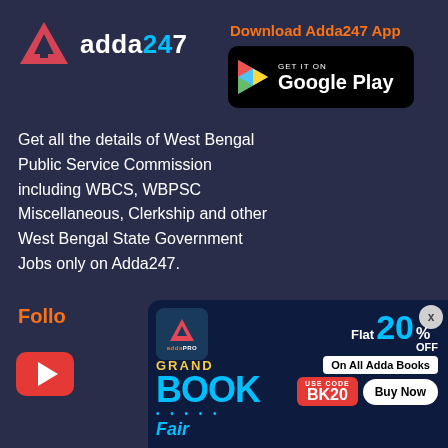[Figure (logo): Adda247 logo with red triangle/arrow icon and white text 'adda247']
Download Adda247 App
[Figure (screenshot): Google Play Store download button - black rounded rectangle with Google Play icon and text 'GET IT ON Google Play']
Get all the details of West Bengal Public Service Commission including WBCS, WBPSC Miscellaneous, Clerkship and other West Bengal State Government Jobs only on Adda247.
Follo
[Figure (logo): YouTube red circular icon]
[Figure (infographic): Adda247 Grand Book Fair banner: Flat 20% OFF on All Adda Books, USE CODE BK20, Buy Now button]